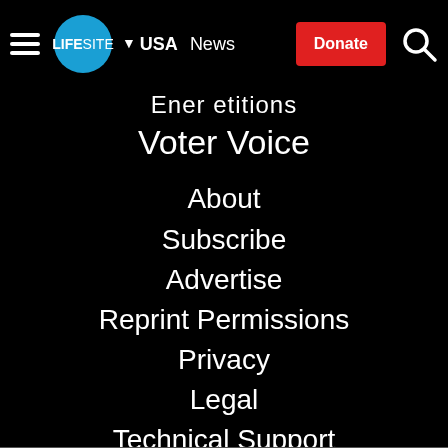LifeSite | USA | News | Donate
Ener etitions
Voter Voice
About
Subscribe
Advertise
Reprint Permissions
Privacy
Legal
Technical Support
Contact
Donate